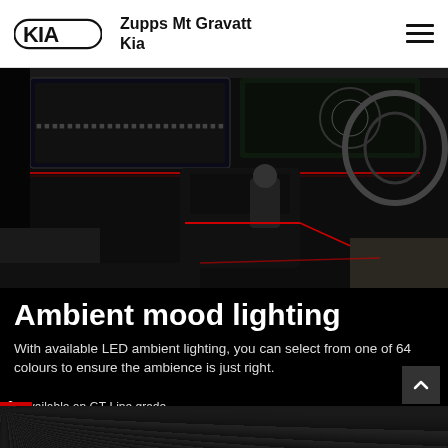Zupps Mt Gravatt Kia
[Figure (photo): Car interior photo showing Kia dashboard with ambient red LED lighting, large touchscreens, center console, steering wheel, and gear selector]
Ambient mood lighting
With available LED ambient lighting, you can select from one of 64 colours to ensure the ambience is just right.
Available on GT-Line grade.